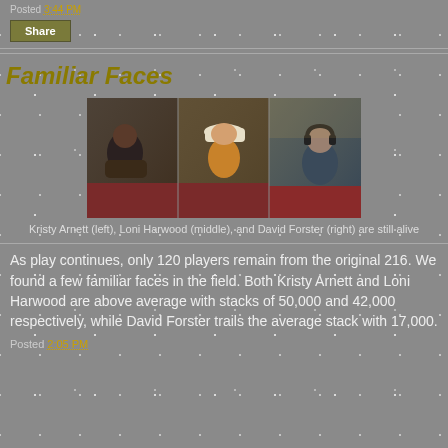Posted 3:44 PM
Share
Familiar Faces
[Figure (photo): Three poker players at tables: Kristy Arnett (left), Loni Harwood (middle), and David Forster (right)]
Kristy Arnett (left), Loni Harwood (middle), and David Forster (right) are still alive
As play continues, only 120 players remain from the original 216. We found a few familiar faces in the field. Both Kristy Arnett and Loni Harwood are above average with stacks of 50,000 and 42,000 respectively, while David Forster trails the average stack with 17,000.
Posted 2:05 PM